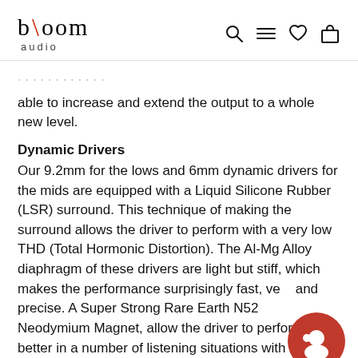bloom audio — navigation icons: search, menu, wishlist, bag
able to increase and extend the output to a whole new level.
Dynamic Drivers
Our 9.2mm for the lows and 6mm dynamic drivers for the mids are equipped with a Liquid Silicone Rubber (LSR) surround. This technique of making the surround allows the driver to perform with a very low THD (Total Hormonic Distortion). The Al-Mg Alloy diaphragm of these drivers are light but stiff, which makes the performance surprisingly fast, ve and precise. A Super Strong Rare Earth N52 Neodymium Magnet, allow the driver to perform better in a number of listening situations with l